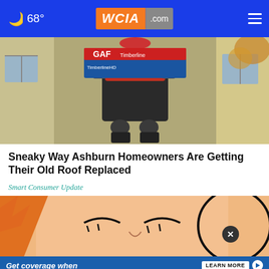68° WCIA.com
[Figure (photo): Person in work gear carrying GAF Timberline HD roofing shingles on a ladder outside a house]
Sneaky Way Ashburn Homeowners Are Getting Their Old Roof Replaced
Smart Consumer Update
[Figure (photo): Cartoon/illustrated close-up of a face with closed eyes and orange elements, partially obscured]
[Figure (other): Advertisement banner: Get coverage when life changes. LEARN MORE HealthCare.gov]